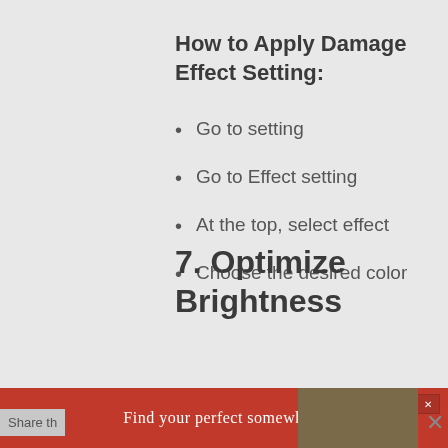How to Apply Damage Effect Setting:
Go to setting
Go to Effect setting
At the top, select effect
Choose the desired color
7. Optimize Brightness
[Figure (other): Advertisement banner: 'Find your perfect somewhere' with red background and travel imagery]
Share th...